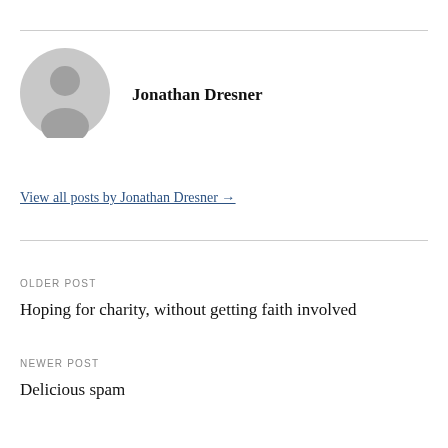[Figure (illustration): Gray circular avatar placeholder icon with silhouette of a person]
Jonathan Dresner
View all posts by Jonathan Dresner →
OLDER POST
Hoping for charity, without getting faith involved
NEWER POST
Delicious spam